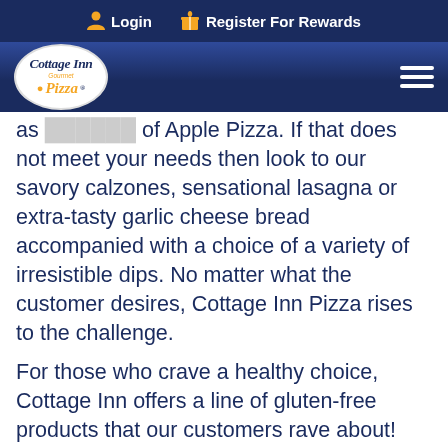Login | Register For Rewards
[Figure (logo): Cottage Inn Gourmet Pizza logo — circular white oval with blue italic text and orange accent]
as [option] of Apple Pizza. If that does not meet your needs then look to our savory calzones, sensational lasagna or extra-tasty garlic cheese bread accompanied with a choice of a variety of irresistible dips. No matter what the customer desires, Cottage Inn Pizza rises to the challenge.
For those who crave a healthy choice, Cottage Inn offers a line of gluten-free products that our customers rave about! Now for the busy parents or those in charge of organizing a meeting or party, Cottage Inn Pizza specifically offers the convenience of catering as well.